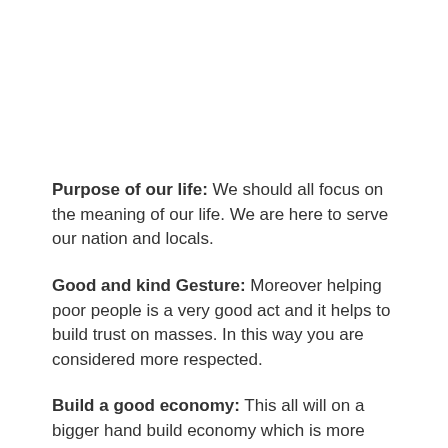Purpose of our life: We should all focus on the meaning of our life. We are here to serve our nation and locals.
Good and kind Gesture: Moreover helping poor people is a very good act and it helps to build trust on masses. In this way you are considered more respected.
Build a good economy: This all will on a bigger hand build economy which is more healthy and unsustainable in the long run.